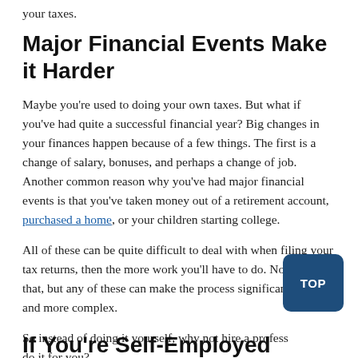your taxes.
Major Financial Events Make it Harder
Maybe you're used to doing your own taxes. But what if you've had quite a successful financial year? Big changes in your finances happen because of a few things. The first is a change of salary, bonuses, and perhaps a change of job. Another common reason why you've had major financial events is that you've taken money out of a retirement account, purchased a home, or your children starting college.
All of these can be quite difficult to deal with when filing your tax returns, then the more work you'll have to do. Not only that, but any of these can make the process significantly harder and more complex.
So instead of doing it yourself, why not hire a professional to do it for you?
If You're Self-Employed